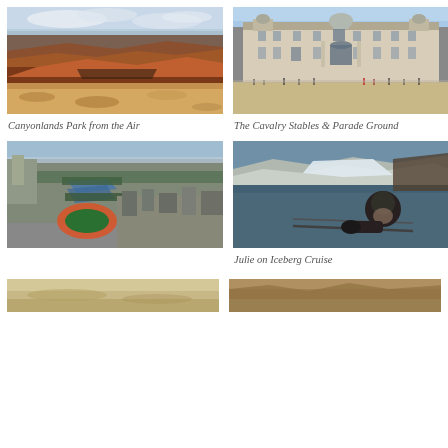[Figure (photo): Aerial view of Canyonlands National Park showing red rock canyon formations and mesas under cloudy sky]
Canyonlands Park from the Air
[Figure (photo): The Cavalry Stables and Parade Ground showing a grand classical building with a large open sandy courtyard with people]
The Cavalry Stables & Parade Ground
[Figure (photo): Aerial view of Paris showing the Seine river winding through buildings, trees, and a stadium]
[Figure (photo): Julie on an iceberg cruise, person in dark winter gear at boat railing with icy water and snowy hills behind]
Julie on Iceberg Cruise
[Figure (photo): Partial bottom image – tan/desert landscape (cropped)]
[Figure (photo): Partial bottom image – brown rocky landscape (cropped)]